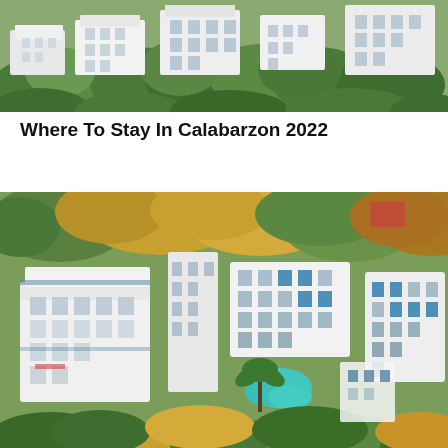[Figure (photo): Aerial view of white Mediterranean-style resort buildings nestled among dense tropical green trees, photographed from above.]
Where To Stay In Calabarzon 2022
[Figure (photo): Aerial drone photograph of a white resort complex with blue-accented balconies, a turquoise swimming pool in the center courtyard, surrounded by lush green and golden-orange tropical trees.]